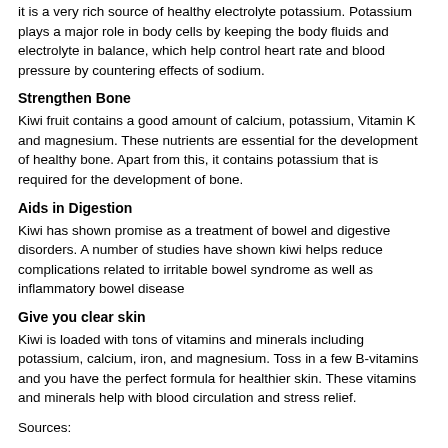it is a very rich source of healthy electrolyte potassium. Potassium plays a major role in body cells by keeping the body fluids and electrolyte in balance, which help control heart rate and blood pressure by countering effects of sodium.
Strengthen Bone
Kiwi fruit contains a good amount of calcium, potassium, Vitamin K and magnesium. These nutrients are essential for the development of healthy bone. Apart from this, it contains potassium that is required for the development of bone.
Aids in Digestion
Kiwi has shown promise as a treatment of bowel and digestive disorders. A number of studies have shown kiwi helps reduce complications related to irritable bowel syndrome as well as inflammatory bowel disease
Give you clear skin
Kiwi is loaded with tons of vitamins and minerals including potassium, calcium, iron, and magnesium. Toss in a few B-vitamins and you have the perfect formula for healthier skin. These vitamins and minerals help with blood circulation and stress relief.
Sources: